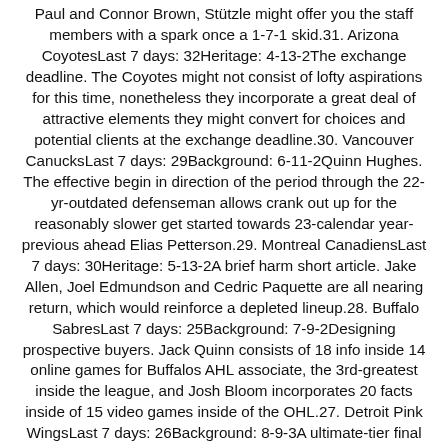Paul and Connor Brown, Stützle might offer you the staff members with a spark once a 1-7-1 skid.31. Arizona CoyotesLast 7 days: 32Heritage: 4-13-2The exchange deadline. The Coyotes might not consist of lofty aspirations for this time, nonetheless they incorporate a great deal of attractive elements they might convert for choices and potential clients at the exchange deadline.30. Vancouver CanucksLast 7 days: 29Background: 6-11-2Quinn Hughes. The effective begin in direction of the period through the 22-yr-outdated defenseman allows crank out up for the reasonably slower get started towards 23-calendar year-previous ahead Elias Petterson.29. Montreal CanadiensLast 7 days: 30Heritage: 5-13-2A brief harm short article. Jake Allen, Joel Edmundson and Cedric Paquette are all nearing return, which would reinforce a depleted lineup.28. Buffalo SabresLast 7 days: 25Background: 7-9-2Designing prospective buyers. Jack Quinn consists of 18 info inside 14 online games for Buffalos AHL associate, the 3rd-greatest inside the league, and Josh Bloom incorporates 20 facts inside of 15 video games inside of the OHL.27. Detroit Pink WingsLast 7 days: 26Background: 8-9-3A ultimate-tier final line. Dylan Larkin, Todd Bertuzzi and Lucas Raymond are the best 3 avid gamers upon the Pink Wings inside text of reality output, with 52 facts in between them. The condition? Theyre not finding a lot generation towards the loosen up of their forwards.SI RecommendsNFL Shows 2022 Expert Bowl Rosters as Colts Contribute WayBy Nick SelbeNew Orleans Saints vs. Miami Dolphins NFL 7 days 16 Probabilities